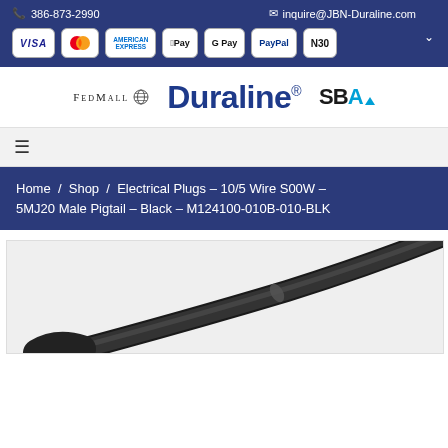386-873-2990 | inquire@JBN-Duraline.com
[Figure (logo): Payment method icons: VISA, Mastercard, American Express, Apple Pay, G Pay, PayPal, N30]
[Figure (logo): FedMall logo, Duraline logo, SBA logo]
≡
Home / Shop / Electrical Plugs – 10/5 Wire S00W – 5MJ20 Male Pigtail – Black – M124100-010B-010-BLK
[Figure (photo): Black electrical plug cable pigtail product photo]